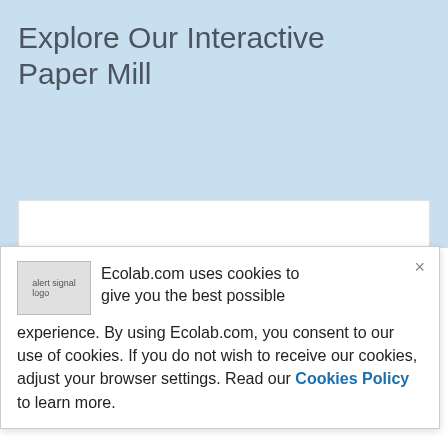Explore Our Interactive Paper Mill
[Figure (other): White content area / interactive paper mill embed placeholder]
Ecolab.com uses cookies to give you the best possible experience. By using Ecolab.com, you consent to our use of cookies. If you do not wish to receive our cookies, adjust your browser settings. Read our Cookies Policy to learn more.